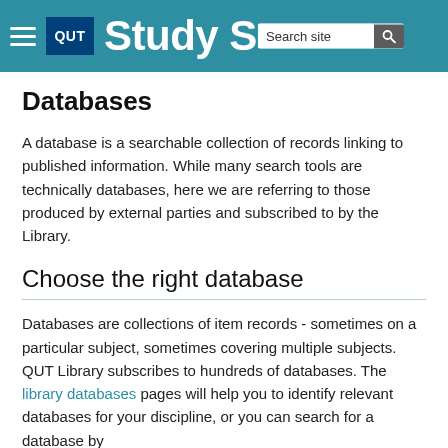QUT Study Skills — Search site
Databases
A database is a searchable collection of records linking to published information. While many search tools are technically databases, here we are referring to those produced by external parties and subscribed to by the Library.
Choose the right database
Databases are collections of item records - sometimes on a particular subject, sometimes covering multiple subjects. QUT Library subscribes to hundreds of databases. The library databases pages will help you to identify relevant databases for your discipline, or you can search for a database by